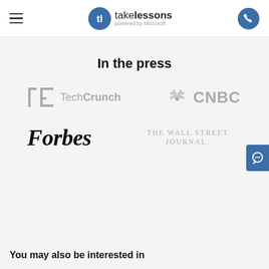takelessons powered by Microsoft
In the press
[Figure (logo): TechCrunch logo in gray]
[Figure (logo): CNBC logo in gray with peacock feather icon]
[Figure (logo): Forbes logo in black serif italic]
[Figure (logo): The Wall Street Journal logo in gray]
You may also be interested in